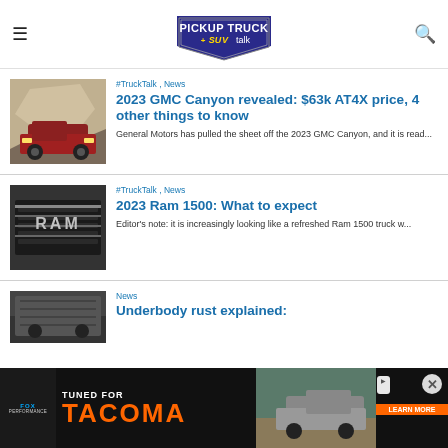Pickup Truck + SUV Talk
#TruckTalk , News
2023 GMC Canyon revealed: $63k AT4X price, 4 other things to know
General Motors has pulled the sheet off the 2023 GMC Canyon, and it is read...
#TruckTalk , News
2023 Ram 1500: What to expect
Editor's note: it is increasingly looking like a refreshed Ram 1500 truck w...
News
Underbody rust explained:
[Figure (screenshot): Advertisement banner: Fox Performance, Tuned for Tacoma, Learn More]